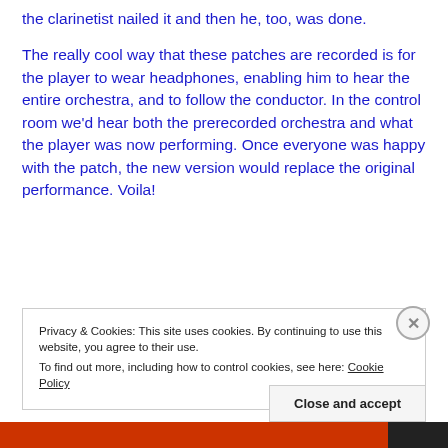the clarinetist nailed it and then he, too, was done.
The really cool way that these patches are recorded is for the player to wear headphones, enabling him to hear the entire orchestra, and to follow the conductor. In the control room we'd hear both the prerecorded orchestra and what the player was now performing. Once everyone was happy with the patch, the new version would replace the original performance. Voila!
Privacy & Cookies: This site uses cookies. By continuing to use this website, you agree to their use. To find out more, including how to control cookies, see here: Cookie Policy
Close and accept